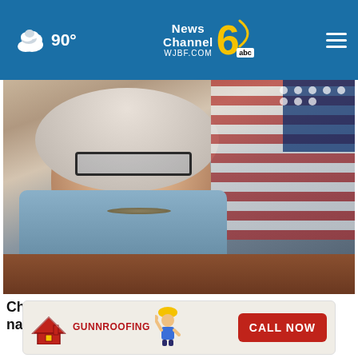90° News Channel 6 abc WJBF.COM
[Figure (photo): A woman with blonde hair and glasses seated at what appears to be a congressional hearing. A nameplate is partially visible in the foreground, and an American flag is visible in the background.]
Cheney slams GOP leadership for enabling ‘white nationalism’ following Buffalo shooting
[Figure (photo): Partially visible second news photo of a person, with a close-up of an elder man’s face cropped and blurred behind an ad overlay.]
[Figure (infographic): Advertisement banner for Gunn Roofing showing roof icon, construction worker mascot, and a red CALL NOW button.]